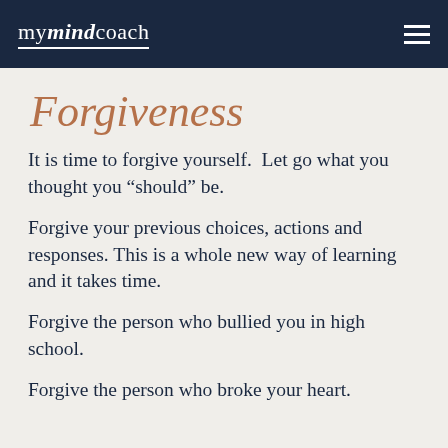mymindcoach
Forgiveness
It is time to forgive yourself.  Let go what you thought you “should” be.
Forgive your previous choices, actions and responses. This is a whole new way of learning and it takes time.
Forgive the person who bullied you in high school.
Forgive the person who broke your heart.